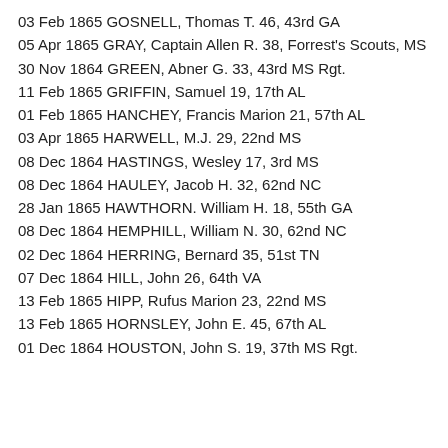03 Feb 1865 GOSNELL, Thomas T. 46, 43rd GA
05 Apr 1865 GRAY, Captain Allen R. 38, Forrest's Scouts, MS
30 Nov 1864 GREEN, Abner G. 33, 43rd MS Rgt.
11 Feb 1865 GRIFFIN, Samuel 19, 17th AL
01 Feb 1865 HANCHEY, Francis Marion 21, 57th AL
03 Apr 1865 HARWELL, M.J. 29, 22nd MS
08 Dec 1864 HASTINGS, Wesley 17, 3rd MS
08 Dec 1864 HAULEY, Jacob H. 32, 62nd NC
28 Jan 1865 HAWTHORN. William H. 18, 55th GA
08 Dec 1864 HEMPHILL, William N. 30, 62nd NC
02 Dec 1864 HERRING, Bernard 35, 51st TN
07 Dec 1864 HILL, John 26, 64th VA
13 Feb 1865 HIPP, Rufus Marion 23, 22nd MS
13 Feb 1865 HORNSLEY, John E. 45, 67th AL
01 Dec 1864 HOUSTON, John S. 19, 37th MS Rgt.
15 Feb 1865 HOUK, John 20, 31st AL